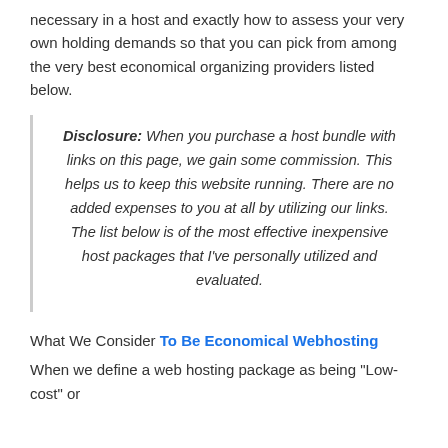necessary in a host and exactly how to assess your very own holding demands so that you can pick from among the very best economical organizing providers listed below.
Disclosure: When you purchase a host bundle with links on this page, we gain some commission. This helps us to keep this website running. There are no added expenses to you at all by utilizing our links. The list below is of the most effective inexpensive host packages that I've personally utilized and evaluated.
What We Consider To Be Economical Webhosting
When we define a web hosting package as being "Low-cost" or